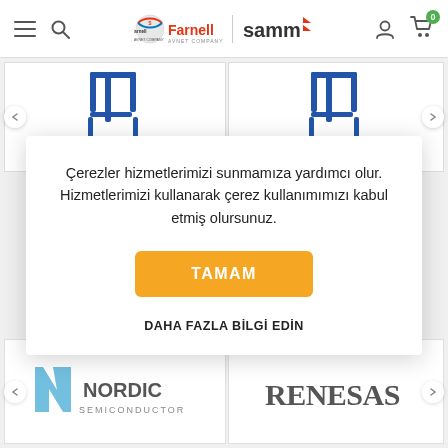[Figure (screenshot): Website header with hamburger menu, search icon, Farnell | samm logos, user icon and cart icon with badge showing 0]
[Figure (photo): Two product images of blue hand trucks/sack trucks on white backgrounds]
Çerezler hizmetlerimizi sunmamıza yardımcı olur. Hizmetlerimizi kullanarak çerez kullanımımızı kabul etmiş olursunuz.
TAMAM
DAHA FAZLA BİLGİ EDİN
[Figure (logo): Nordic Semiconductor logo]
[Figure (logo): Renesas logo]